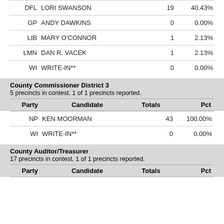| Party | Candidate | Totals | Pct |
| --- | --- | --- | --- |
| DFL | LORI SWANSON | 19 | 40.43% |
| GP | ANDY DAWKINS | 0 | 0.00% |
| LIB | MARY O'CONNOR | 1 | 2.13% |
| LMN | DAN R. VACEK | 1 | 2.13% |
| WI | WRITE-IN** | 0 | 0.00% |
County Commissioner District 3
5 precincts in contest. 1 of 1 precincts reported.
| Party | Candidate | Totals | Pct |
| --- | --- | --- | --- |
| NP | KEN MOORMAN | 43 | 100.00% |
| WI | WRITE-IN** | 0 | 0.00% |
County Auditor/Treasurer
17 precincts in contest. 1 of 1 precincts reported.
| Party | Candidate | Totals | Pct |
| --- | --- | --- | --- |